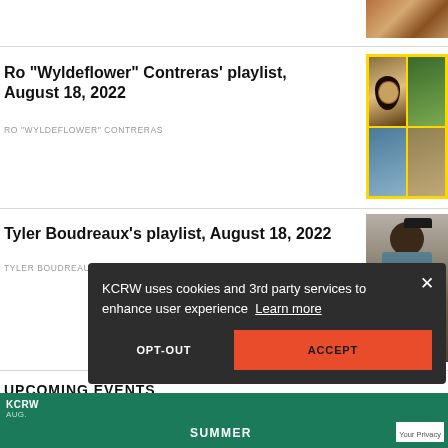[Figure (photo): Partial image at top right, appears to be an artistic painting or illustration]
Ro "Wyldeflower" Contreras' playlist, August 18, 2022
RO "WYLDEFLOWER" CONTRERAS
[Figure (photo): Mosaic of images on yellow background: an eye painting and a person with glasses]
Tyler Boudreaux's playlist, August 18, 2022
TYLER BOUDREAUX
[Figure (photo): Photo of a smiling person with headphones and dreadlocks]
UPCOMING EVENTS
KCRW uses cookies and 3rd party services to enhance user experience  Learn more
OPT-OUT
ACCEPT
SUMMER
Your Privacy